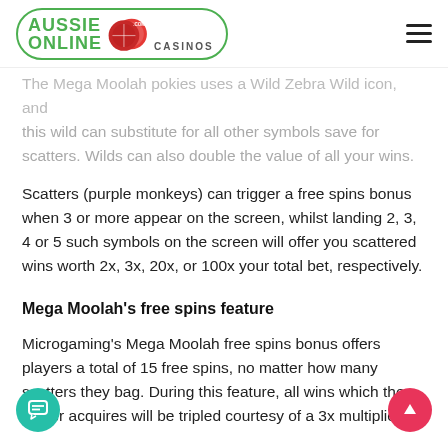Aussie Online Casinos .com
The Mega Moolah pokies uses a Wild Zebra Wild icon, and this wild can substitute for all other symbols save for scatters. Wilds can also double the value of all your wins.
Scatters (purple monkeys) can trigger a free spins bonus when 3 or more appear on the screen, whilst landing 2, 3, 4 or 5 such symbols on the screen will offer you scattered wins worth 2x, 3x, 20x, or 100x your total bet, respectively.
Mega Moolah's free spins feature
Microgaming's Mega Moolah free spins bonus offers players a total of 15 free spins, no matter how many scatters they bag. During this feature, all wins which the player acquires will be tripled courtesy of a 3x multiplier.